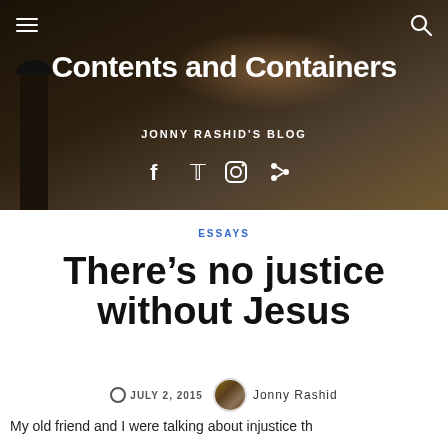[Figure (photo): Dark aerial cityscape photo with chimney/tower in foreground and city skyline in background at dusk, used as blog header background]
Contents and Containers
JONNY RASHID'S BLOG
Social icons: Facebook, Twitter, Instagram, Share
ESSAYS
There’s no justice without Jesus
JULY 2, 2015   Jonny Rashid
My old friend and I were talking about injustice th